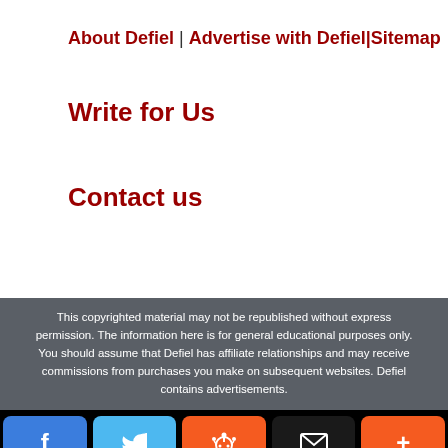About Defiel | Advertise with Defiel|Sitemap
Write for Us
Contact us
This copyrighted material may not be republished without express permission. The information here is for general educational purposes only. You should assume that Defiel has affiliate relationships and may receive commissions from purchases you make on subsequent websites. Defiel contains advertisements.
Facebook | Twitter | Reddit | Email | Plus